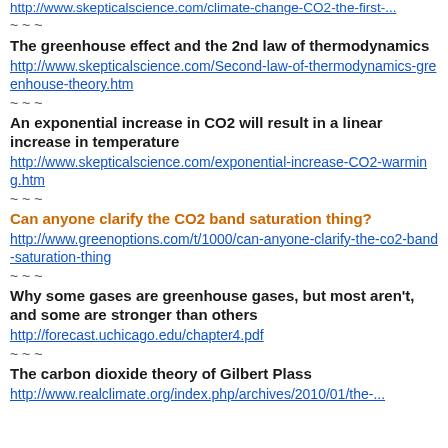http://www.skepticalscience.com/climate-change-CO2-the-first-...
~ ~ ~
The greenhouse effect and the 2nd law of thermodynamics
http://www.skepticalscience.com/Second-law-of-thermodynamics-greenhouse-theory.htm
~ ~ ~
An exponential increase in CO2 will result in a linear increase in temperature
http://www.skepticalscience.com/exponential-increase-CO2-warming.htm
~ ~ ~
Can anyone clarify the CO2 band saturation thing?
http://www.greenoptions.com/t/1000/can-anyone-clarify-the-co2-band-saturation-thing
~ ~ ~
Why some gases are greenhouse gases, but most aren't, and some are stronger than others
http://forecast.uchicago.edu/chapter4.pdf
~ ~ ~
The carbon dioxide theory of Gilbert Plass
http://www.realclimate.org/index.php/archives/2010/01/the-...